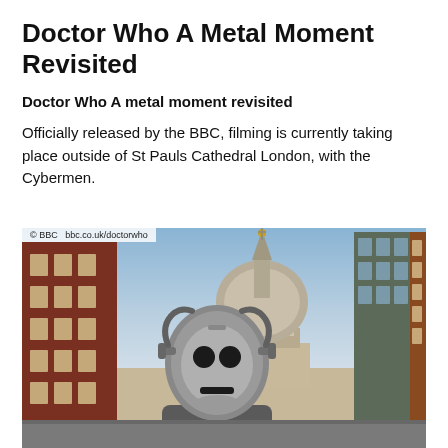Doctor Who A Metal Moment Revisited
Doctor Who A metal moment revisited
Officially released by the BBC, filming is currently taking place outside of St Pauls Cathedral London, with the Cybermen.
[Figure (photo): A Cyberman (silver robot-like figure) standing in front of St Paul's Cathedral dome in London, with red brick buildings on the left and a modern building on the right. Sky is partly cloudy. Watermark reads: © BBC  bbc.co.uk/doctorwho]